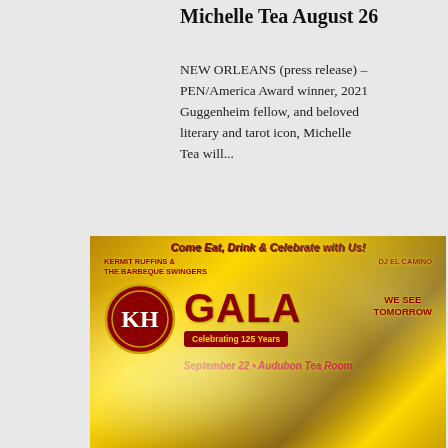Michelle Tea August 26
NEW ORLEANS (press release) – PEN/America Award winner, 2021 Guggenheim fellow, and beloved literary and tarot icon, Michelle Tea will...
[Figure (illustration): Promotional gala advertisement with gold bokeh background. Text reads: 'Come Eat, Drink & Celebrate with Us! KERMIT RUFFINS & THE BARBEQUE SWINGERS | DJ EL CAMINO | WE SEE TOMORROW GALA Celebrating 125 Years | KH logo | September 22 • Audubon Tea Room']